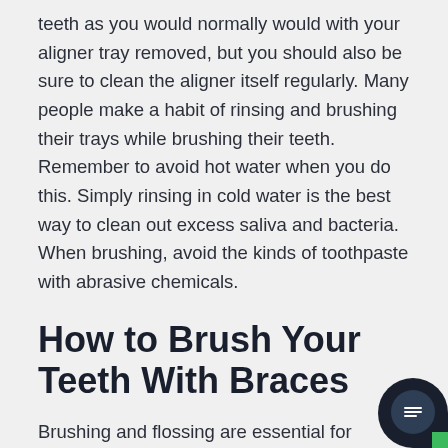teeth as you would normally would with your aligner tray removed, but you should also be sure to clean the aligner itself regularly. Many people make a habit of rinsing and brushing their trays while brushing their teeth. Remember to avoid hot water when you do this. Simply rinsing in cold water is the best way to clean out excess saliva and bacteria. When brushing, avoid the kinds of toothpaste with abrasive chemicals.
How to Brush Your Teeth With Braces
Brushing and flossing are essential for maintaining healthy teeth under normal circumstances, but while you have braces, have to be diligent every day. Ideally, you sho brush after each meal. Use a gentle, circular